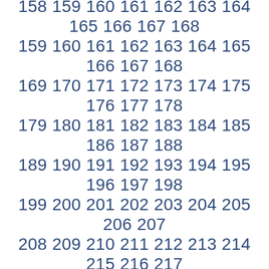158 159 160 161 162 163 164 165 166 167 168 169 170 171 172 173 174 175 176 177 178 179 180 181 182 183 184 185 186 187 188 189 190 191 192 193 194 195 196 197 198 199 200 201 202 203 204 205 206 207 208 209 210 211 212 213 214 215 216 217 218 219 220 221 222 223 224 225 226 227 228 229 230 231 232 233 234 235 236 237 238 239 240 241 242 243 244 245 246 247 248 249 250 251 252 253 254 255 256 257 258 259 260 261 262 263 264 265 266 267 268 269 270 271 272 273 274 275 276 277 278 279 280 281 282 283 284 285 286 287 288 289 290 291 292 293 294 295 296 297 298 299 300 301 302 303 304 305 306 307 308 309 310 311 312 313 314 315 316 317 318 319 320 321 322 323 324 325 326 327 328 329 330 331 332 333 334 335 336 337 338 339 340 341 342 343 344 345 346 347 348 349 350 351 352 353 354 355 356 357 358 359 360 361 362